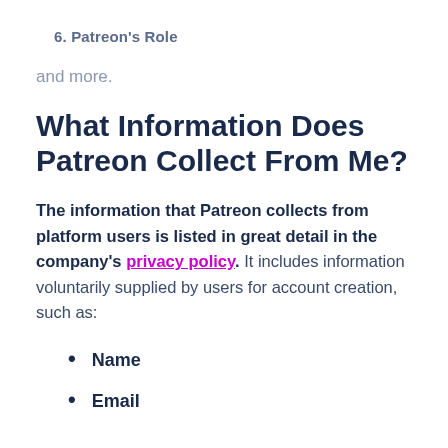6. Patreon's Role
and more.
What Information Does Patreon Collect From Me?
The information that Patreon collects from platform users is listed in great detail in the company's privacy policy. It includes information voluntarily supplied by users for account creation, such as:
Name
Email